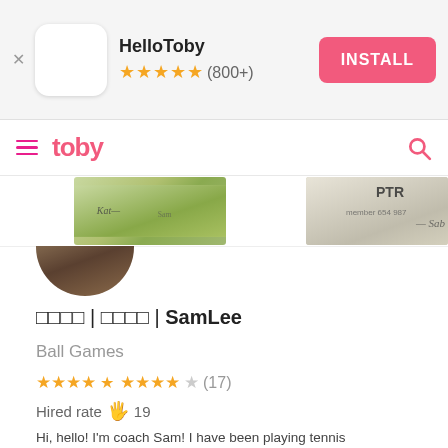[Figure (screenshot): HelloToby app install banner with app icon, star rating (800+), and INSTALL button]
[Figure (screenshot): Toby app navigation bar with hamburger menu, Toby logo in pink, and search icon]
[Figure (photo): Certificates strip showing two partially visible certificate images]
[Figure (photo): Partial avatar/profile photo of Sam Lee showing top of head]
□□□□ | □□□□ | SamLee
Ball Games
★★★★☆ (17)
Hired rate 🖐 19
Hi, hello! I&#39;m coach Sam! I have been playing tennis